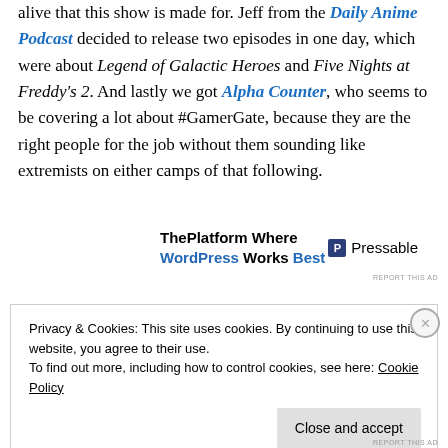alive that this show is made for. Jeff from the Daily Anime Podcast decided to release two episodes in one day, which were about Legend of Galactic Heroes and Five Nights at Freddy's 2. And lastly we got Alpha Counter, who seems to be covering a lot about #GamerGate, because they are the right people for the job without them sounding like extremists on either camps of that following.
[Figure (other): Advertisement banner: ThePlatform Where WordPress Works Best | Pressable logo]
REPORT THIS AD
Privacy & Cookies: This site uses cookies. By continuing to use this website, you agree to their use.
To find out more, including how to control cookies, see here: Cookie Policy
Close and accept
REPORT THIS AD